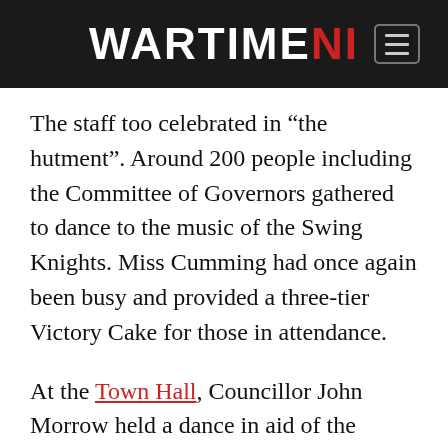WARTIME NI
The staff too celebrated in “the hutment”. Around 200 people including the Committee of Governors gathered to dance to the music of the Swing Knights. Miss Cumming had once again been busy and provided a three-tier Victory Cake for those in attendance.
At the Town Hall, Councillor John Morrow held a dance in aid of the Ballymena and District Victory Fund. Hundreds of people gathered to dance the night away to music